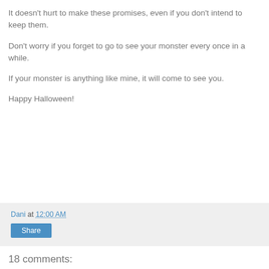It doesn’t hurt to make these promises, even if you don’t intend to keep them.
Don’t worry if you forget to go to see your monster every once in a while.
If your monster is anything like mine, it will come to see you.
Happy Halloween!
Dani at 12:00 AM  Share
18 comments: